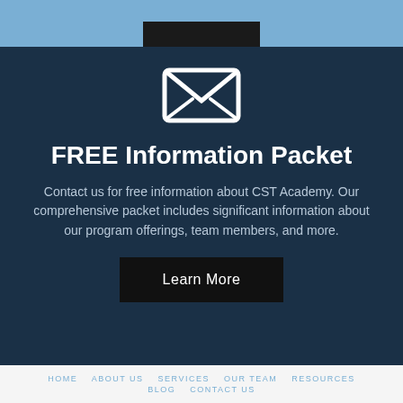[Figure (screenshot): Top blue bar with a dark button aligned at the bottom center]
[Figure (illustration): White envelope icon on dark navy background]
FREE Information Packet
Contact us for free information about CST Academy. Our comprehensive packet includes significant information about our program offerings, team members, and more.
Learn More
HOME   ABOUT US   SERVICES   OUR TEAM   RESOURCES   BLOG   CONTACT US